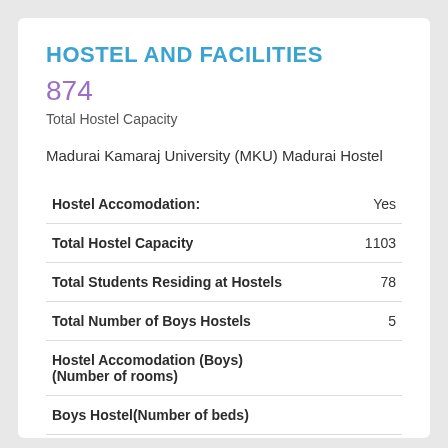HOSTEL AND FACILITIES
874
Total Hostel Capacity
Madurai Kamaraj University (MKU) Madurai Hostel
| Field | Value |
| --- | --- |
| Hostel Accomodation: | Yes |
| Total Hostel Capacity | 1103 |
| Total Students Residing at Hostels | 78 |
| Total Number of Boys Hostels | 5 |
| Hostel Accomodation (Boys)(Number of rooms) |  |
| Boys Hostel(Number of beds) |  |
| Boys Hostel(Average Area Per Bed) |  |